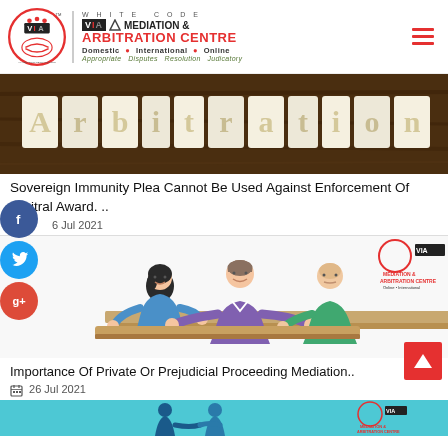[Figure (logo): White Code VIA Mediation & Arbitration Centre logo with circular VIA emblem, organization name, and tagline. Domestic, International, Online. Appropriate Disputes Resolution Judicatory.]
[Figure (photo): Dark wooden background with white letter tiles spelling 'Arbitration']
Sovereign Immunity Plea Cannot Be Used Against Enforcement Of Arbitral Award. ..
6 Jul 2021
[Figure (illustration): Cartoon illustration of three people at a mediation table — a woman on the left, a man in the centre gesturing with both hands, and an elderly man on the right. VIA Mediation & Arbitration Centre logo watermark in top right corner.]
Importance Of Private Or Prejudicial Proceeding Mediation..
26 Jul 2021
[Figure (photo): Partial view of a third article image with cyan/teal background showing two people shaking hands, with VIA Mediation & Arbitration Centre logo watermark.]